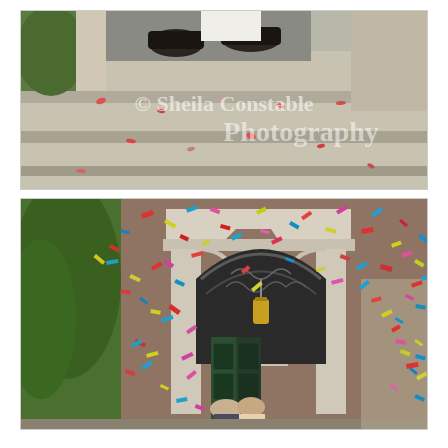[Figure (photo): Wedding photo showing feet/shoes of a couple (dark dress shoes and white dress) on stone steps with flower petals scattered, with a watermark reading '© Sheila Constable Photography']
[Figure (photo): Wedding photo showing colorful confetti flying in front of a grand stone portico/entrance with ornate ironwork arch and green double doors, with a couple visible at the bottom and trees on the left]